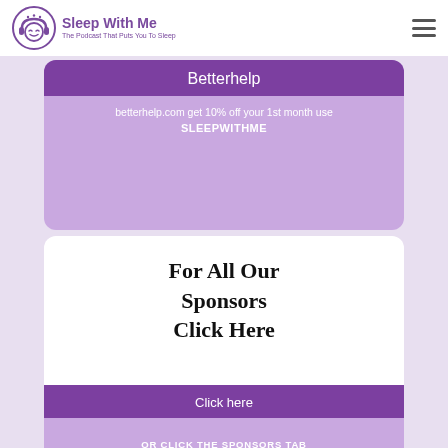Sleep With Me — The Podcast That Puts You To Sleep
Betterhelp
betterhelp.com get 10% off your 1st month use
SLEEPWITHME
For All Our Sponsors Click Here
Click here
OR CLICK THE SPONSORS TAB
[Figure (other): Partial blue rectangle at bottom, part of a third card]